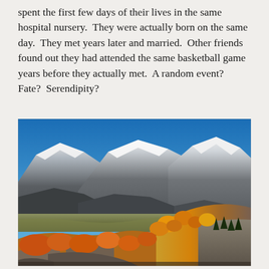spent the first few days of their lives in the same hospital nursery.  They were actually born on the same day.  They met years later and married.  Other friends found out they had attended the same basketball game years before they actually met.  A random event? Fate?  Serendipity?
[Figure (photo): A mountain landscape with snow-capped peaks under a blue sky, with autumn foliage in orange and yellow in the foreground and middle ground, and evergreen trees on a rocky slope.]